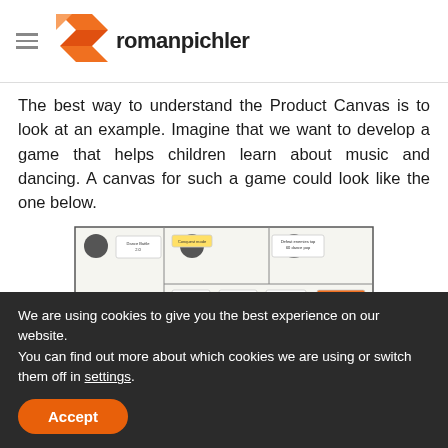romanpichler
The best way to understand the Product Canvas is to look at an example. Imagine that we want to develop a game that helps children learn about music and dancing. A canvas for such a game could look like the one below.
[Figure (screenshot): A product canvas diagram showing sticky notes with text such as 'Dance Battle 2.0', 'Conquest mode', 'Defeat enemies top 60 dance pop', 'Play with character', 'Buy new characters', 'Customize character', 'Focus on select dancing characters', 'Create', 'Chorus']
We are using cookies to give you the best experience on our website.
You can find out more about which cookies we are using or switch them off in settings.
Accept